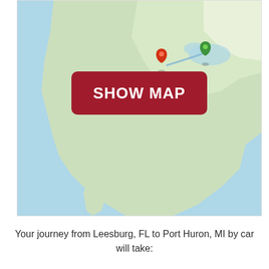[Figure (map): A blurred map of North America showing route from Leesburg, FL (red pin) to Port Huron, MI (green pin) with a 'SHOW MAP' button overlay in dark red.]
Your journey from Leesburg, FL to Port Huron, MI by car will take: